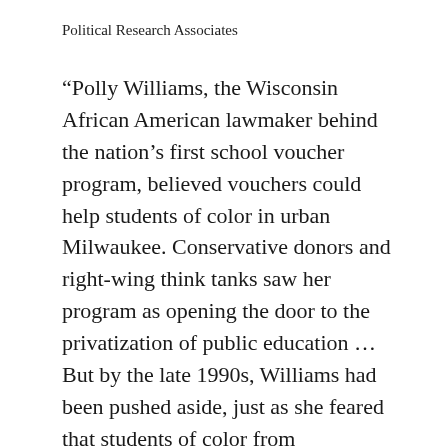Political Research Associates
“Polly Williams, the Wisconsin African American lawmaker behind the nation’s first school voucher program, believed vouchers could help students of color in urban Milwaukee. Conservative donors and right-wing think tanks saw her program as opening the door to the privatization of public education … But by the late 1990s, Williams had been pushed aside, just as she feared that students of color from low-income families would be pushed aside by the diverging agenda of her White conservative partners.”
Read more …